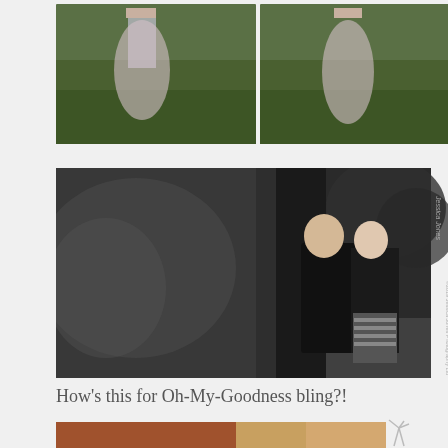[Figure (photo): Two outdoor photos side by side showing a woman in a long floral dress standing near a tree on green grass. Left photo and right photo show slightly different poses.]
[Figure (photo): Large black and white photo of a couple standing close together against a wooden wall or building exterior. The man is in a dark t-shirt and the woman has short blonde hair and is wearing a black top with a striped skirt. They are laughing and smiling at each other.]
How's this for Oh-My-Goodness bling?!
[Figure (photo): Partial bottom image strip showing warm brown/copper tones, likely a close-up detail photo.]